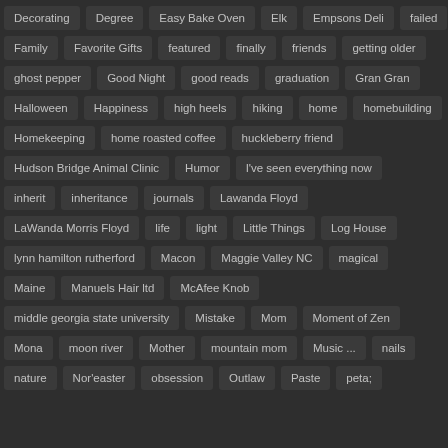Decorating
Degree
Easy Bake Oven
Elk
Empsons Deli
failed
Family
Favorite Gifts
featured
finally
friends
getting older
ghost pepper
Good Night
good reads
graduation
Gran Gran
Halloween
Happiness
high heels
hiking
home
homebuilding
Homekeeping
home roasted coffee
huckleberry friend
Hudson Bridge Animal Clinic
Humor
I've seen everything now
inherit
inheritance
journals
Lawanda Floyd
LaWanda Morris Floyd
life
light
Little Things
Log House
lynn hamilton rutherford
Macon
Maggie Valley NC
magical
Maine
Manuels Hair ltd
McAfee Knob
middle georgia state university
Mistake
Mom
Moment of Zen
Mona
moon river
Mother
mountain mom
Music ...
nails
nature
Nor'easter
obsession
Outlaw
Paste
peta;